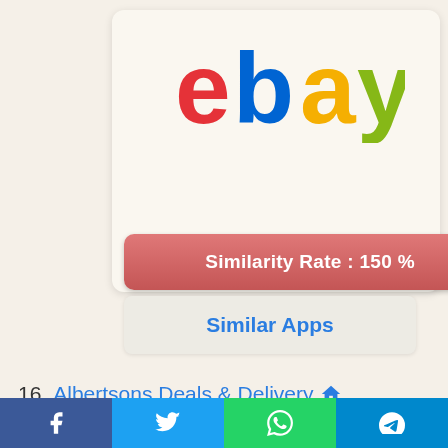[Figure (logo): eBay logo with colored letters: red 'e', blue 'b', yellow 'a', green 'y']
Similarity Rate : 150 %
Similar Apps
16. Albertsons Deals & Delivery
Get all your deals, coupons and rewards in one easy place with weekly discounts of up to $300.
[Figure (other): Social share bar with Facebook, Twitter, WhatsApp, and Telegram icons]